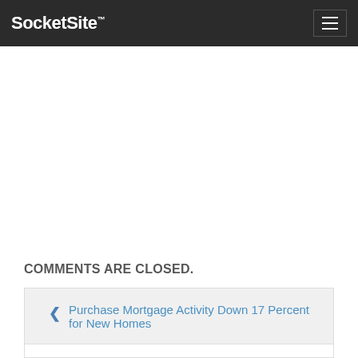SocketSite™
COMMENTS ARE CLOSED.
Purchase Mortgage Activity Down 17 Percent for New Homes